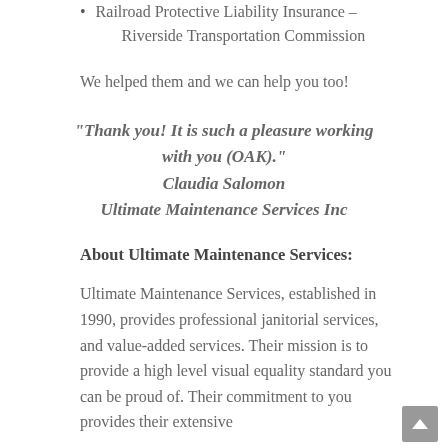Railroad Protective Liability Insurance – Riverside Transportation Commission
We helped them and we can help you too!
“Thank you! It is such a pleasure working with you (OAK).” Claudia Salomon Ultimate Maintenance Services Inc
About Ultimate Maintenance Services:
Ultimate Maintenance Services, established in 1990, provides professional janitorial services, and value-added services. Their mission is to provide a high level visual equality standard you can be proud of. Their commitment to you provides their extensive